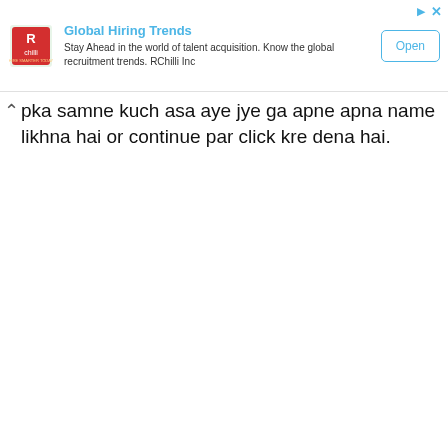[Figure (screenshot): Advertisement banner for RChilli - Global Hiring Trends. Contains RChilli logo, title 'Global Hiring Trends', description text 'Stay Ahead in the world of talent acquisition. Know the global recruitment trends. RChilli Inc', and an 'Open' button. Also contains close (X) and info arrow icons in top-right.]
pka samne kuch asa aye jye ga apne apna name likhna hai or continue par click kre dena hai.